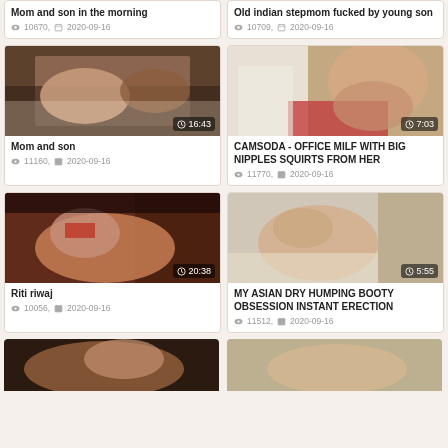Mom and son in the morning
👁 10670, 📅 2020-09-16
Old indian stepmom fucked by young son
👁 10709, 📅 2020-09-16
[Figure (photo): Video thumbnail - Mom and son, duration 16:43]
Mom and son
👁 11160, 📅 2020-09-16
[Figure (photo): Video thumbnail - CAMSODA office milf, duration 7:03]
CAMSODA - OFFICE MILF WITH BIG NIPPLES SQUIRTS FROM HER
👁 11770, 📅 2020-09-16
[Figure (photo): Video thumbnail - Riti riwaj, duration 20:38]
Riti riwaj
👁 10056, 📅 2020-09-16
[Figure (photo): Video thumbnail - MY ASIAN DRY HUMPING BOOTY OBSESSION INSTANT ERECTION, duration 5:55]
MY ASIAN DRY HUMPING BOOTY OBSESSION INSTANT ERECTION
👁 11512, 📅 2020-09-16